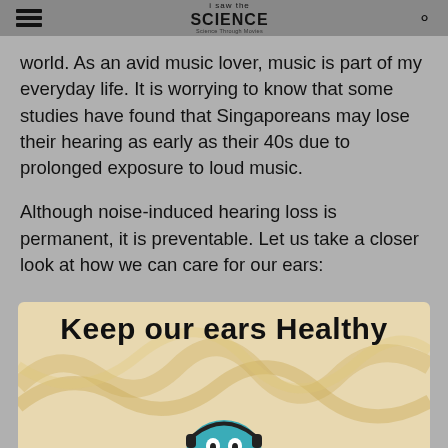i saw the SCIENCE
world. As an avid music lover, music is part of my everyday life. It is worrying to know that some studies have found that Singaporeans may lose their hearing as early as their 40s due to prolonged exposure to loud music.
Although noise-induced hearing loss is permanent, it is preventable. Let us take a closer look at how we can care for our ears:
[Figure (illustration): Colorful illustration showing 'Keep our ears Healthy' title text with decorative swirling lines and a cartoon character at the bottom]